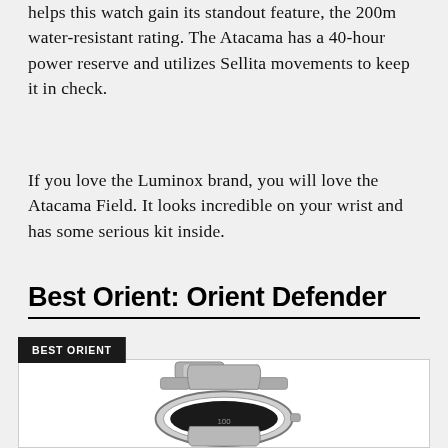helps this watch gain its standout feature, the 200m water-resistant rating. The Atacama has a 40-hour power reserve and utilizes Sellita movements to keep it in check.
If you love the Luminox brand, you will love the Atacama Field. It looks incredible on your wrist and has some serious kit inside.
Best Orient: Orient Defender
[Figure (photo): Photo of the Orient Defender watch, a silver/steel bracelet watch shown from above at an angle, with a badge label reading BEST ORIENT in the top-left corner of the image frame.]